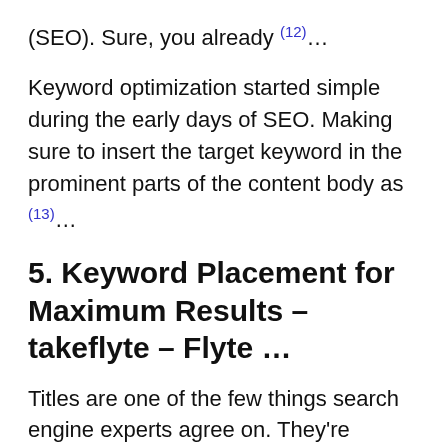(SEO). Sure, you already (12)…
Keyword optimization started simple during the early days of SEO. Making sure to insert the target keyword in the prominent parts of the content body as (13)…
5. Keyword Placement for Maximum Results – takeflyte – Flyte ...
Titles are one of the few things search engine experts agree on. They're probably the most important variable for